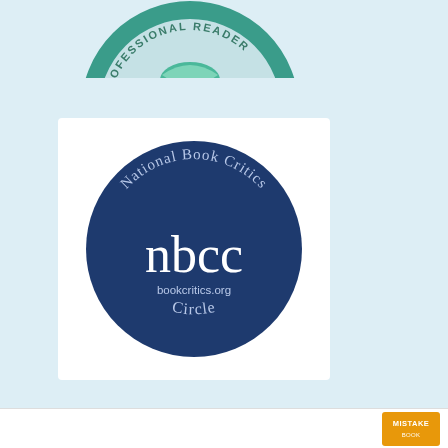[Figure (logo): Partial circular logo with text 'PROFESSIONAL READER' around the edge, green and teal colors, top portion visible]
[Figure (logo): National Book Critics Circle (NBCC) logo — dark blue circle with text 'National Book Critics' at top, 'nbcc' in large white serif letters in center, 'bookcritics.org' below, 'Circle' at bottom. Displayed inside a white rounded rectangle.]
[Figure (logo): WordPress Follow button: cyan/teal rectangle with WordPress 'W' icon on left and text 'Follow Tessa Talks Books']
Privacy & Cookies: This site uses cookies. By continuing to use this website, you agree to their use.
To find out more, including how to control cookies, see here: Cookie Policy
Close and accept
[Figure (logo): Small orange/yellow badge partially visible at bottom right, appears to say 'Mistake']